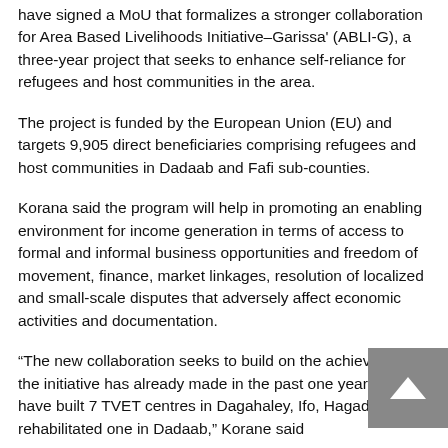Garissa County Governor, Ministerans and Danish Refugee Council have signed a MoU that formalizes a stronger collaboration for Area Based Livelihoods Initiative–Garissa' (ABLI-G), a three-year project that seeks to enhance self-reliance for refugees and host communities in the area.
The project is funded by the European Union (EU) and targets 9,905 direct beneficiaries comprising refugees and host communities in Dadaab and Fafi sub-counties.
Korana said the program will help in promoting an enabling environment for income generation in terms of access to formal and informal business opportunities and freedom of movement, finance, market linkages, resolution of localized and small-scale disputes that adversely affect economic activities and documentation.
“The new collaboration seeks to build on the achievements the initiative has already made in the past one year. We have built 7 TVET centres in Dagahaley, Ifo, Hagadera and rehabilitated one in Dadaab,” Korane said
“So far over 400 refugees and host students have enrolled for various courses such as tailoring, plumbing, electrical wiring and solar photovoltaic installation, electrical wiring, refrigeration, air-